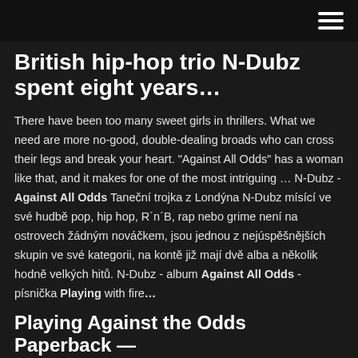[navigation bar with hamburger menu]
British hip-hop trio N-Dubz spent eight years…
There have been too many sweet girls in thrillers. What we need are more no-good, double-dealing broads who can cross their legs and break your heart. "Against All Odds" has a woman like that, and it makes for one of the most intriguing … N-Dubz - Against All Odds Taneční trojka z Londýna N-Dubz mísící ve své hudbě pop, hip hop, R´n´B, rap nebo grime není na ostrovech žádným nováčkem, jsou jednou z nejúspěšnějších skupin ve své kategorii, na kontě již mají dvě alba a několik hodně velkých hitů. N-Dubz - album Against All Odds - písnička Playing with fire…
Playing Against the Odds Paperback —